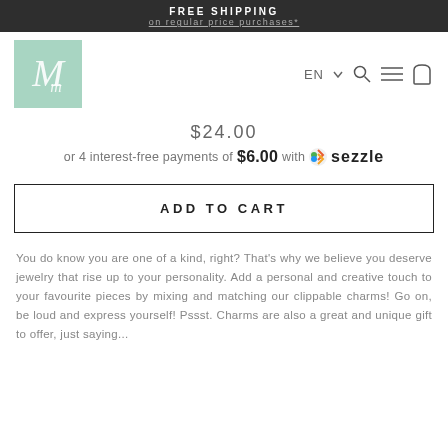FREE SHIPPING
on regular price purchases*
[Figure (logo): Mia jewelry brand logo - mint/sage green square with cursive M script]
$24.00
or 4 interest-free payments of $6.00 with Sezzle
ADD TO CART
You do know you are one of a kind, right? That's why we believe you deserve jewelry that rise up to your personality. Add a personal and creative touch to your favourite pieces by mixing and matching our clippable charms! Go on, be loud and express yourself! Pssst. Charms are also a great and unique gift to offer, just saying...